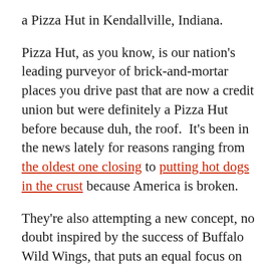a Pizza Hut in Kendallville, Indiana.
Pizza Hut, as you know, is our nation's leading purveyor of brick-and-mortar places you drive past that are now a credit union but were definitely a Pizza Hut before because duh, the roof.  It's been in the news lately for reasons ranging from the oldest one closing to putting hot dogs in the crust because America is broken.
They're also attempting a new concept, no doubt inspired by the success of Buffalo Wild Wings, that puts an equal focus on their WingStreet chicken parts vertical, plus a whole bunch of televisions tuned to